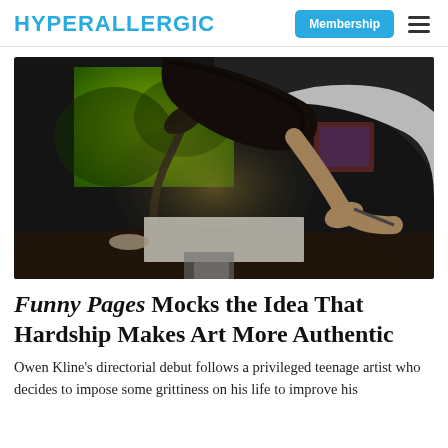HYPERALLERGIC | Membership
[Figure (photo): A young person with dark hair leans over a table drawing or writing on paper, with a desk lamp with a curved neck visible in the background along with a bright green-lit window. The scene is dimly lit and cinematic.]
Funny Pages Mocks the Idea That Hardship Makes Art More Authentic
Owen Kline's directorial debut follows a privileged teenage artist who decides to impose some grittiness on his life to improve his